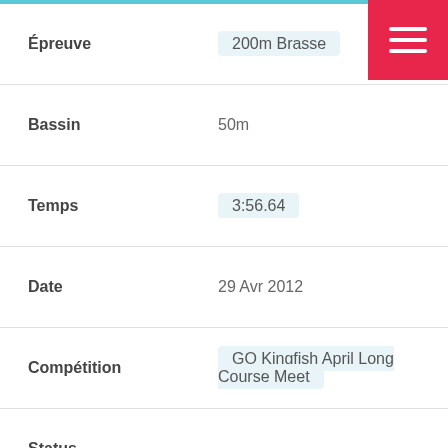| Field | Value |
| --- | --- |
| Épreuve | 200m Brasse |
| Bassin | 50m |
| Temps | 3:56.64 |
| Date | 29 Avr 2012 |
| Compétition | GO Kingfish April Long Course Meet |
| Status |  |
| Épreuve | 100m Brasse |
| Bassin | 50m |